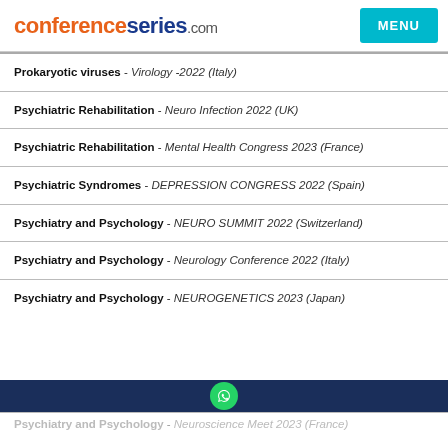conferenceseries.com | MENU
Prokaryotic viruses - Virology -2022 (Italy)
Psychiatric Rehabilitation - Neuro Infection 2022 (UK)
Psychiatric Rehabilitation - Mental Health Congress 2023 (France)
Psychiatric Syndromes - DEPRESSION CONGRESS 2022 (Spain)
Psychiatry and Psychology - NEURO SUMMIT 2022 (Switzerland)
Psychiatry and Psychology - Neurology Conference 2022 (Italy)
Psychiatry and Psychology - NEUROGENETICS 2023 (Japan)
Psychiatry and Psychology - Neuroscience Meet 2023 (France)